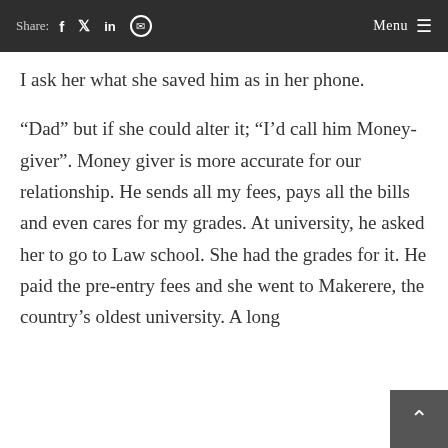Share: f  in  (whatsapp)   Menu
I ask her what she saved him as in her phone.
“Dad” but if she could alter it; “I’d call him Money-giver”. Money giver is more accurate for our relationship. He sends all my fees, pays all the bills and even cares for my grades. At university, he asked her to go to Law school. She had the grades for it. He paid the pre-entry fees and she went to Makerere, the country’s oldest university. A long